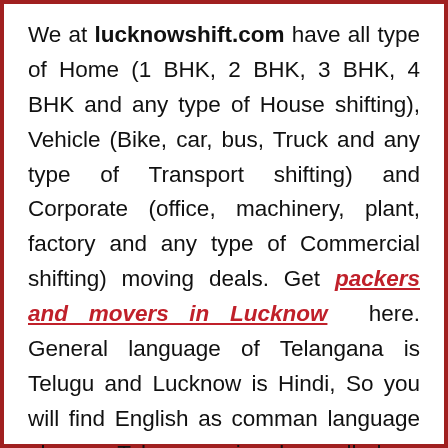We at lucknowshift.com have all type of Home (1 BHK, 2 BHK, 3 BHK, 4 BHK and any type of House shifting), Vehicle (Bike, car, bus, Truck and any type of Transport shifting) and Corporate (office, machinery, plant, factory and any type of Commercial shifting) moving deals. Get packers and movers in Lucknow here. General language of Telangana is Telugu and Lucknow is Hindi, So you will find English as comman language always. Telangana is also called as Telangaana.